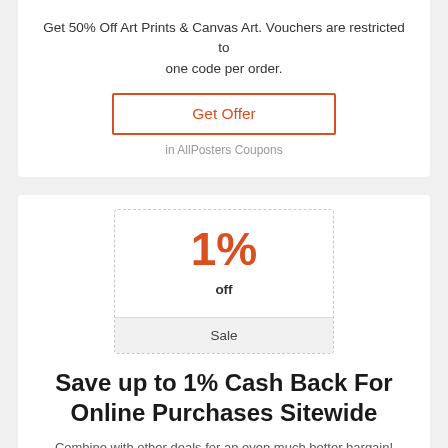Get 50% Off Art Prints & Canvas Art. Vouchers are restricted to one code per order.
Get Offer
in AllPosters Coupons
1%
off
Sale
Save up to 1% Cash Back For Online Purchases Sitewide
Combine with other deals for an even much better bargain! Money back is gained on the certifying acquisition overall after any kind of discount rates and also prior to any kind of costs,